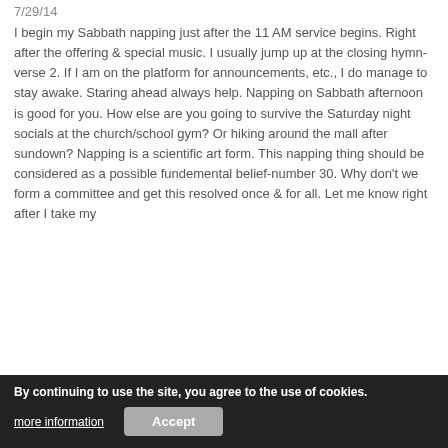7/29/14
I begin my Sabbath napping just after the 11 AM service begins. Right after the offering & special music. I usually jump up at the closing hymn-verse 2. If I am on the platform for announcements, etc., I do manage to stay awake. Staring ahead always help. Napping on Sabbath afternoon is good for you. How else are you going to survive the Saturday night socials at the church/school gym? Or hiking around the mall after sundown? Napping is a scientific art form. This napping thing should be considered as a possible fundemental belief-number 30. Why don't we form a committee and get this resolved once & for all. Let me know right after I take my on the Sabbath! Hike to mall
REPLY
By continuing to use the site, you agree to the use of cookies.
more information
Accept